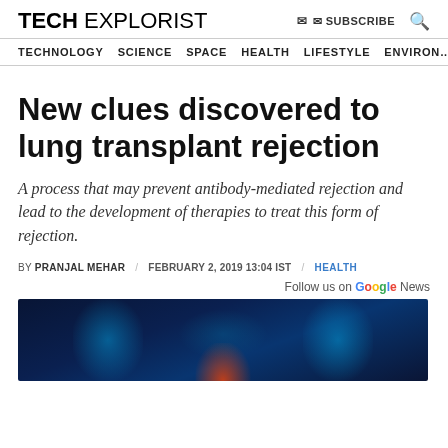TECH EXPLORIST | SUBSCRIBE 🔍
TECHNOLOGY  SCIENCE  SPACE  HEALTH  LIFESTYLE  ENVIRONMENT
New clues discovered to lung transplant rejection
A process that may prevent antibody-mediated rejection and lead to the development of therapies to treat this form of rejection.
BY PRANJAL MEHAR  /  FEBRUARY 2, 2019 13:04 IST  /  HEALTH
Follow us on Google News
[Figure (photo): Medical illustration showing glowing anatomical lungs or neck/throat region on a dark blue background with blue neon-like lighting effects and a red/orange glow at the bottom center.]